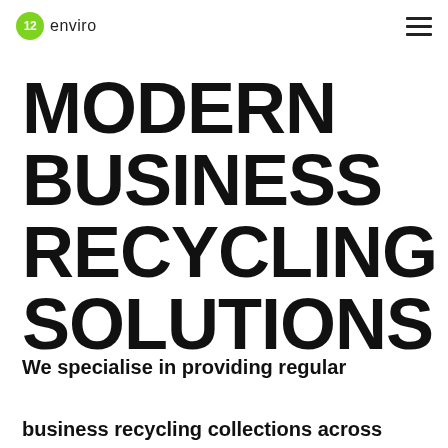12enviro
MODERN BUSINESS RECYCLING SOLUTIONS
We specialise in providing regular business recycling collections across Australia.